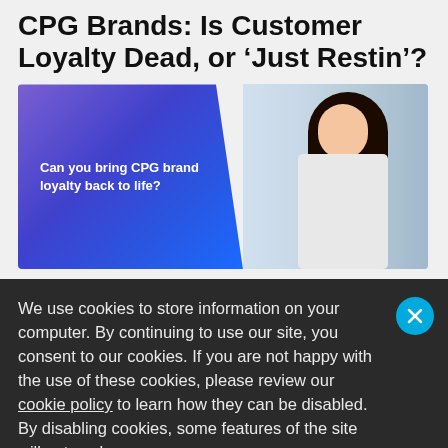CPG Brands: Is Customer Loyalty Dead, or 'Just Restin'?
[Figure (photo): Promotional banner with blue/purple gradient background on the left showing text 'Can you bring CPG brand loyalty back to life?' and a photo of a woman with glasses and dark hair browsing grocery store refrigerated shelves on the right.]
We use cookies to store information on your computer. By continuing to use our site, you consent to our cookies. If you are not happy with the use of these cookies, please review our cookie policy to learn how they can be disabled. By disabling cookies, some features of the site will not work.